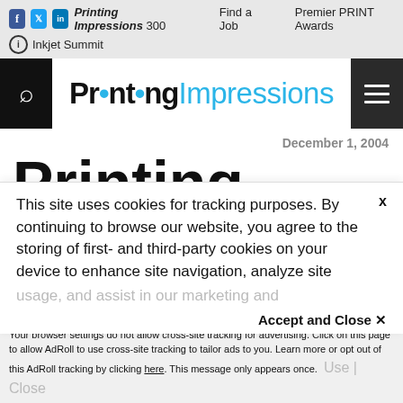Printing Impressions 300   Find a Job   Premier PRINT Awards   Inkjet Summit
[Figure (logo): Printing Impressions logo with search icon and hamburger menu on black background]
December 1, 2004
Printing
This site uses cookies for tracking purposes. By continuing to browse our website, you agree to the storing of first- and third-party cookies on your device to enhance site navigation, analyze site usage, and assist in our marketing and
Accept and Close
Your browser settings do not allow cross-site tracking for advertising. Click on this page to allow AdRoll to use cross-site tracking to tailor ads to you. Learn more or opt out of this AdRoll tracking by clicking here. This message only appears once.